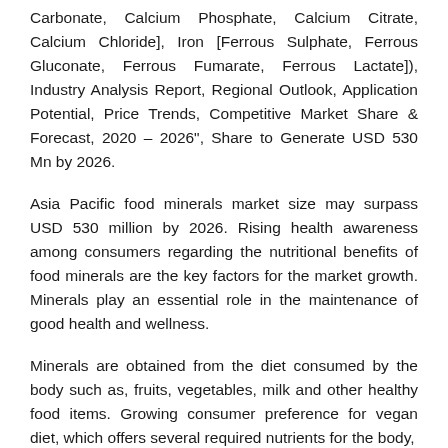Chloride, Magnesium Oxide], Calcium [Calcium Carbonate, Calcium Phosphate, Calcium Citrate, Calcium Chloride], Iron [Ferrous Sulphate, Ferrous Gluconate, Ferrous Fumarate, Ferrous Lactate]), Industry Analysis Report, Regional Outlook, Application Potential, Price Trends, Competitive Market Share & Forecast, 2020 – 2026", Share to Generate USD 530 Mn by 2026.
Asia Pacific food minerals market size may surpass USD 530 million by 2026. Rising health awareness among consumers regarding the nutritional benefits of food minerals are the key factors for the market growth. Minerals play an essential role in the maintenance of good health and wellness.
Minerals are obtained from the diet consumed by the body such as, fruits, vegetables, milk and other healthy food items. Growing consumer preference for vegan diet, which offers several required nutrients for the body,